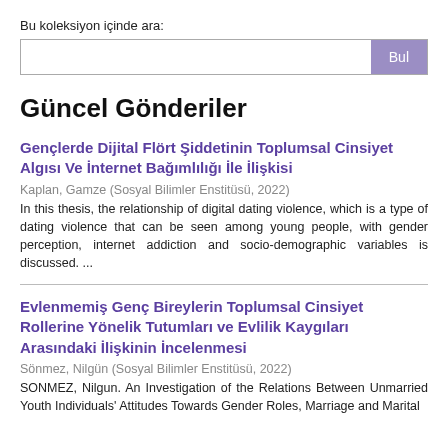Bu koleksiyon içinde ara:
Bul
Güncel Gönderiler
Gençlerde Dijital Flört Şiddetinin Toplumsal Cinsiyet Algısı Ve İnternet Bağımlılığı İle İlişkisi
Kaplan, Gamze (Sosyal Bilimler Enstitüsü, 2022)
In this thesis, the relationship of digital dating violence, which is a type of dating violence that can be seen among young people, with gender perception, internet addiction and socio-demographic variables is discussed. ...
Evlenmemiş Genç Bireylerin Toplumsal Cinsiyet Rollerine Yönelik Tutumları ve Evlilik Kaygıları Arasındaki İlişkinin İncelenmesi
Sönmez, Nilgün (Sosyal Bilimler Enstitüsü, 2022)
SONMEZ, Nilgun. An Investigation of the Relations Between Unmarried Youth Individuals' Attitudes Towards Gender Roles, Marriage and Marital